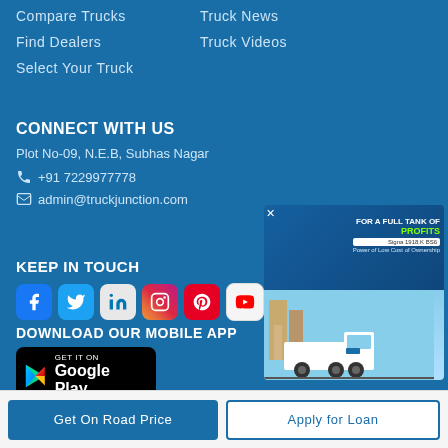Compare Trucks
Truck News
Find Dealers
Truck Videos
Select Your Truck
CONNECT WITH US
Plot No-09, N.E.B, Subhas Nagar
+91 7229977778
admin@truckjunction.com
KEEP IN TOUCH
[Figure (infographic): Social media icons: Facebook, Twitter, LinkedIn, Instagram, Pinterest, YouTube]
DOWNLOAD OUR MOBILE APP
[Figure (infographic): Google Play Store download button]
[Figure (infographic): Advertisement banner for Tata Signa 1918.K BS6 truck - FOR A FULL TANK OF PROFITS]
Get On Road Price
Apply for Loan